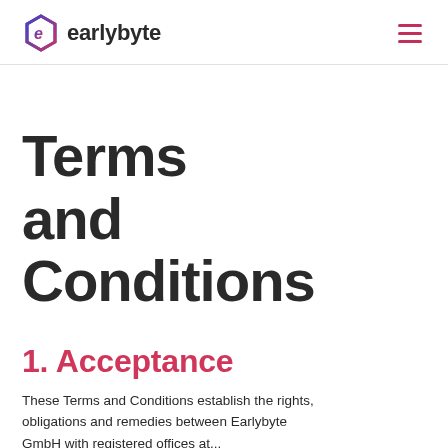earlybyte
Terms and Conditions
1. Acceptance
These Terms and Conditions establish the rights, obligations and remedies between Earlybyte GmbH with registered offices at...